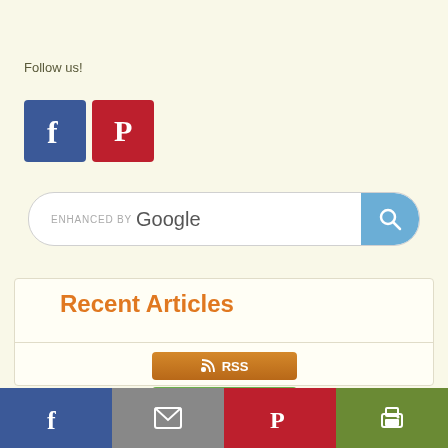Follow us!
[Figure (logo): Facebook and Pinterest social media icon buttons]
[Figure (screenshot): Enhanced by Google search bar with search button]
Recent Articles
[Figure (logo): RSS feed button, Follow button, My Yahoo button]
[Figure (infographic): Bottom share bar with Facebook, email, Pinterest, and print icons]